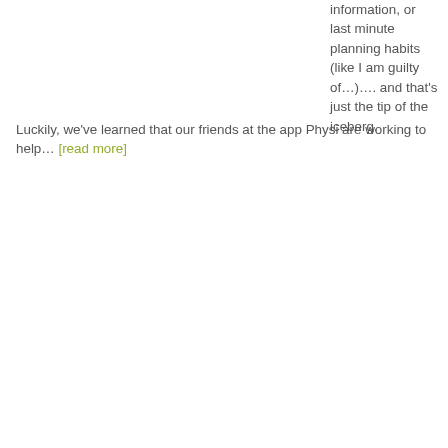information, or last minute planning habits (like I am guilty of…)…. and that's just the tip of the iceberg.
Luckily, we've learned that our friends at the app Physi are working to help… [read more]